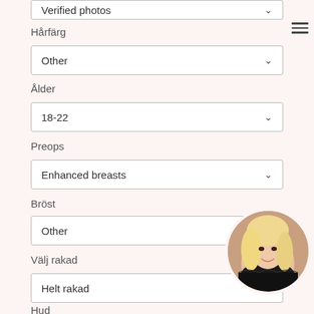Verified photos
Hårfärg
Other
Ålder
18-22
Preops
Enhanced breasts
Bröst
Other
Välj rakad
Helt rakad
Hud
[Figure (photo): Circular avatar photo of a woman with light blonde wavy hair wearing a black lace top, smiling]